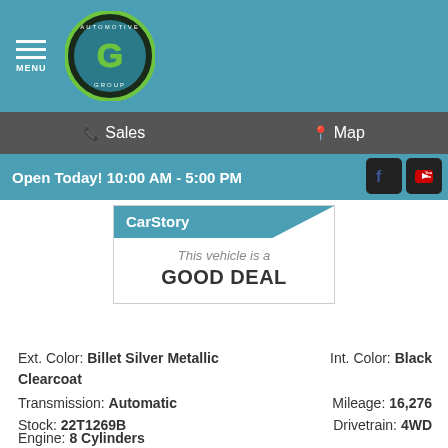[Figure (logo): Gill Automotive Group logo — circular green and teal emblem with a G in the center, navigation menu icon with MENU label]
Sales   Map
Open Today! 10:00 AM - 5:00 PM
[Figure (infographic): CarStory badge: blue diagonal banner with CarStory text, below reads 'This vehicle is a GOOD DEAL']
Ext. Color: Billet Silver Metallic Clearcoat
Int. Color: Black
Transmission: Automatic
Mileage: 16,276
Stock: 22T1269B
Drivetrain: 4WD
Engine: 8 Cylinders
VIN 1C6SRFU97NN149677
[Figure (logo): CARFAX 1 Owner Good Value badge with green Good Value bar and small icons below]